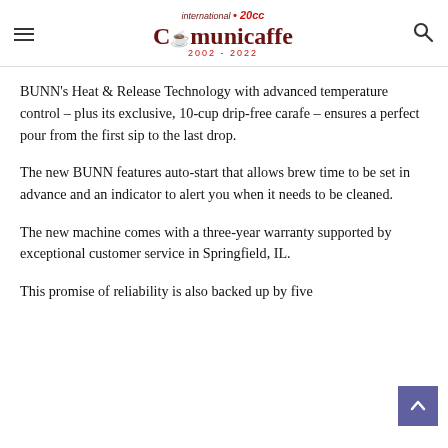International Comunicaffe 20cc 2002 - 2022
BUNN's Heat & Release Technology with advanced temperature control – plus its exclusive, 10-cup drip-free carafe – ensures a perfect pour from the first sip to the last drop.
The new BUNN features auto-start that allows brew time to be set in advance and an indicator to alert you when it needs to be cleaned.
The new machine comes with a three-year warranty supported by exceptional customer service in Springfield, IL.
This promise of reliability is also backed up by five